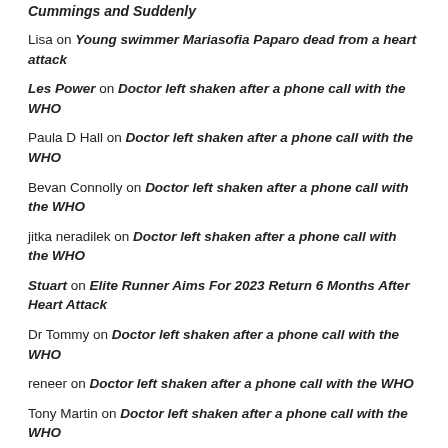Cummings and Suddenly
Lisa on Young swimmer Mariasofia Paparo dead from a heart attack
Les Power on Doctor left shaken after a phone call with the WHO
Paula D Hall on Doctor left shaken after a phone call with the WHO
Bevan Connolly on Doctor left shaken after a phone call with the WHO
jitka neradilek on Doctor left shaken after a phone call with the WHO
Stuart on Elite Runner Aims For 2023 Return 6 Months After Heart Attack
Dr Tommy on Doctor left shaken after a phone call with the WHO
reneer on Doctor left shaken after a phone call with the WHO
Tony Martin on Doctor left shaken after a phone call with the WHO